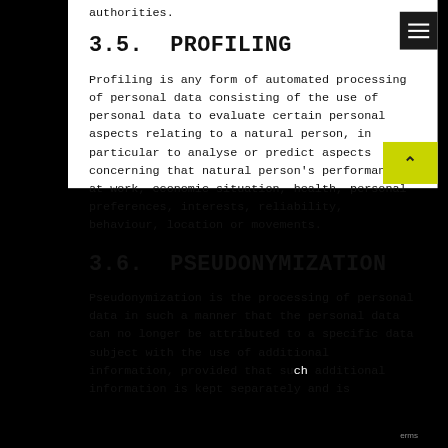authorities.
3.5. PROFILING
Profiling is any form of automated processing of personal data consisting of the use of personal data to evaluate certain personal aspects relating to a natural person, in particular to analyse or predict aspects concerning that natural person's performance at work, economic situation, health, personal preferences, interests, reliability, behaviour, location or movements.
3.6. PSEUDONYMIZATION
Pseudonymization is the processing of personal data in such a manner that the personal data can no longer be attributed to a specific data subject with the use of additional information, provided that such additional information is kept separately and is